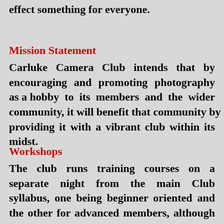effect something for everyone.
Mission Statement
Carluke Camera Club intends that by encouraging and promoting photography as a hobby to its members and the wider community, it will benefit that community by providing it with a vibrant club within its midst.
Workshops
The club runs training courses on a separate night from the main Club syllabus, one being beginner oriented and the other for advanced members, although you are welcome to attend any workshop regardless of your abilities.